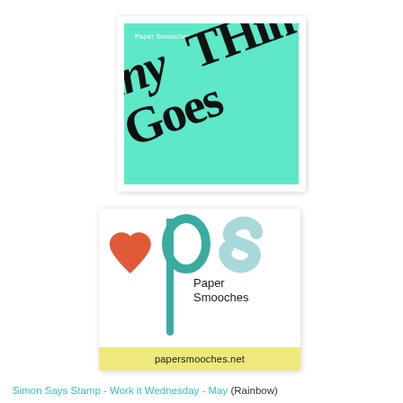[Figure (logo): Paper Smooches 'anything goes' challenge card — teal/mint green background with diagonal bold serif text reading 'anyTHinG Goes' in black, with 'Paper Smooches' in small white text in the upper left.]
[Figure (logo): Paper Smooches logo card — white background, orange/red heart on left, large teal 'p' letter in center with vertical stem, light blue-grey 's' on right, 'Paper Smooches' text in dark below the p, yellow-green footer bar with 'papersmooches.net'.]
Simon Says Stamp - Work it Wednesday - May (Rainbow)